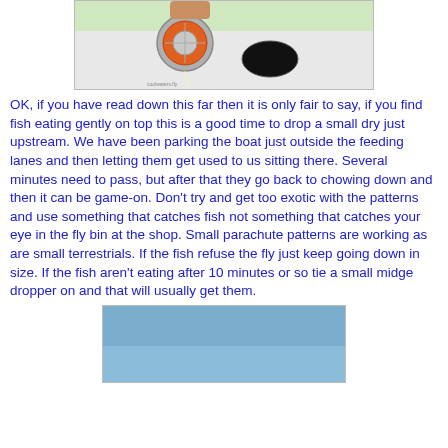[Figure (photo): Close-up photo of a fly fishing reel sitting on a white boat surface, with a black oval opening visible and fishing line coming off the reel. Green foliage visible in background.]
OK, if you have read down this far then it is only fair to say, if you find fish eating gently on top this is a good time to drop a small dry just upstream. We have been parking the boat just outside the feeding lanes and then letting them get used to us sitting there. Several minutes need to pass, but after that they go back to chowing down and then it can be game-on. Don't try and get too exotic with the patterns and use something that catches fish not something that catches your eye in the fly bin at the shop. Small parachute patterns are working as are small terrestrials. If the fish refuse the fly just keep going down in size. If the fish aren't eating after 10 minutes or so tie a small midge dropper on and that will usually get them.
[Figure (photo): Partial photo showing a blue-grey sky or water surface, bottom portion of page.]